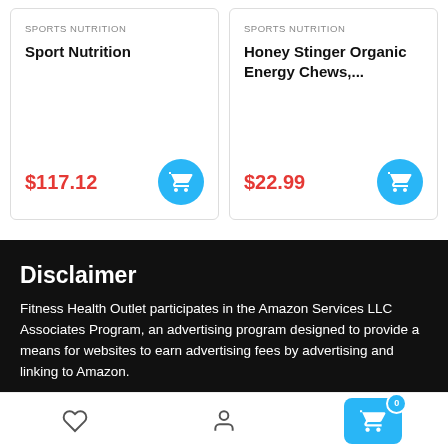SPORTS NUTRITION
Sport Nutrition
$117.12
SPORTS NUTRITION
Honey Stinger Organic Energy Chews,...
$22.99
Disclaimer
Fitness Health Outlet participates in the Amazon Services LLC Associates Program, an advertising program designed to provide a means for websites to earn advertising fees by advertising and linking to Amazon.
0